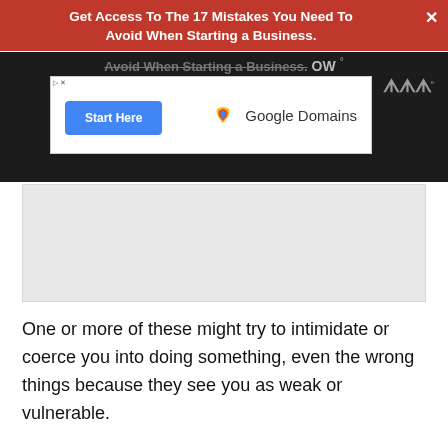Get Access To The 17 Mistakes You Need To Avoid When Starting a Business.
[Figure (screenshot): Advertisement banner showing 'Start Here' button and Google Domains logo inside a white ad box on a dark background header area]
[Figure (photo): Gray content image placeholder area]
One or more of these might try to intimidate or coerce you into doing something, even the wrong things because they see you as weak or vulnerable.
Bullying can also come from colleagues who are even of the same level as you at work.